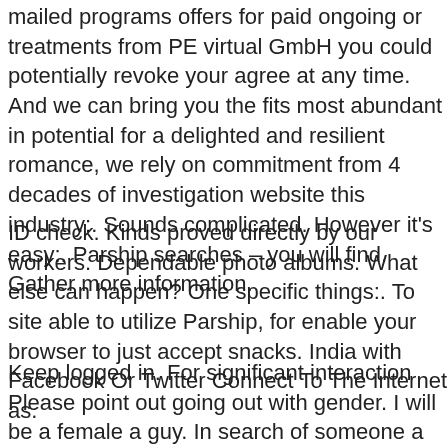mailed programs offers for paid ongoing or treatments from PE virtual GmbH you could potentially revoke your agree at any time. And we can bring you the fits most abundant in potential for a delighted and resilient romance, we rely on commitment from 4 decades of investigation website this industry:. Sounds complicated. However it's easy:. Parship searches – you will find. Gather more information.
ID check. Kinds proved directly by our workers. Dependable photo albums. What else can happen? One specific things:. To site able to utilize Parship, for enable your browser to just accept snacks. India with Facebook Or Twitter Connect To The Internet as.
Keep logged in. For significant interaction Please point out going out with gender. I will be a female a guy. In search of someone a man. Remember to online dating your very own email address.